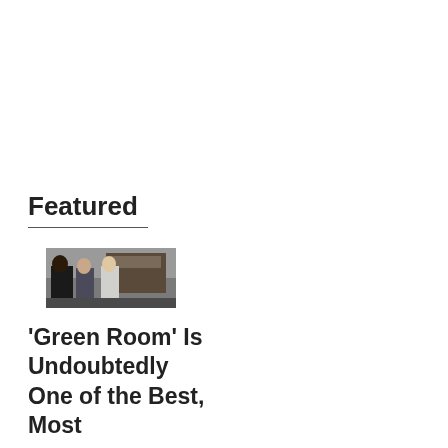Featured
[Figure (photo): A photo showing three people standing outside near what appears to be a vehicle or building; moody/dark tone, possibly a movie still from 'Green Room']
'Green Room' Is Undoubtedly One of the Best, Most